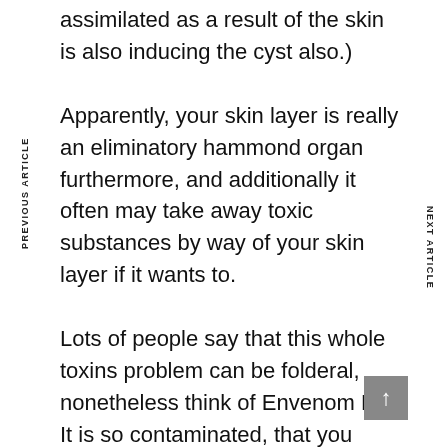assimilated as a result of the skin is also inducing the cyst also.)
Apparently, your skin layer is really an eliminatory hammond organ furthermore, and additionally it often may take away toxic substances by way of your skin layer if it wants to.
Lots of people say that this whole toxins problem can be folderal, nonetheless think of Envenom Ivy. It is so contaminated, that you really don'big t